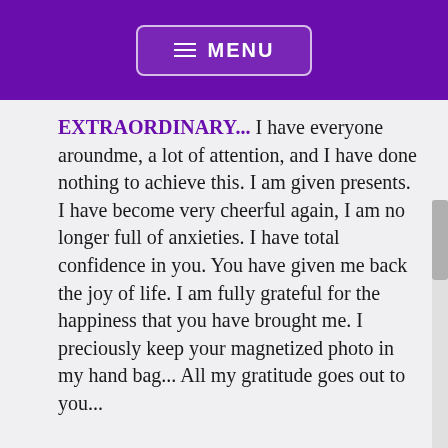≡ MENU
EXTRAORDINARY... I have everyone aroundme, a lot of attention, and I have done nothing to achieve this. I am given presents. I have become very cheerful again, I am no longer full of anxieties. I have total confidence in you. You have given me back the joy of life. I am fully grateful for the happiness that you have brought me. I preciously keep your magnetized photo in my hand bag... All my gratitude goes out to you...
" ...SINCE WE HAVE BEEN IN CONTACT, EVENTS ARE TURNING AROUND MY LIFE... and thanks to your protection, my health has